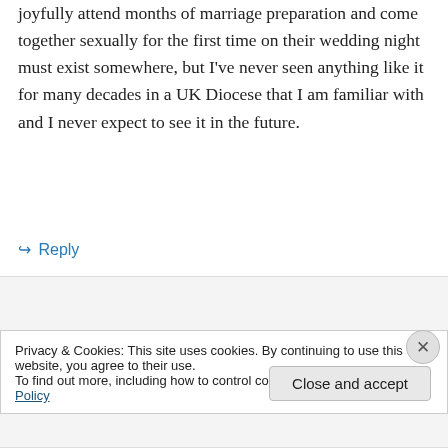This other Catholic World of happy couples who joyfully attend months of marriage preparation and come together sexually for the first time on their wedding night must exist somewhere, but I've never seen anything like it for many decades in a UK Diocese that I am familiar with and I never expect to see it in the future.
↪ Reply
Quentin on July 18, 2016 at 9:00 am
Privacy & Cookies: This site uses cookies. By continuing to use this website, you agree to their use.
To find out more, including how to control cookies, see here: Cookie Policy
Close and accept